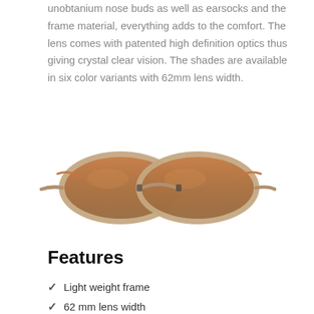unobtanium nose buds as well as earsocks and the frame material, everything adds to the comfort. The lens comes with patented high definition optics thus giving crystal clear vision. The shades are available in six color variants with 62mm lens width.
[Figure (photo): Sunglasses with a light brown/taupe translucent frame and brown gradient lenses, shown from the front.]
Features
Light weight frame
62 mm lens width